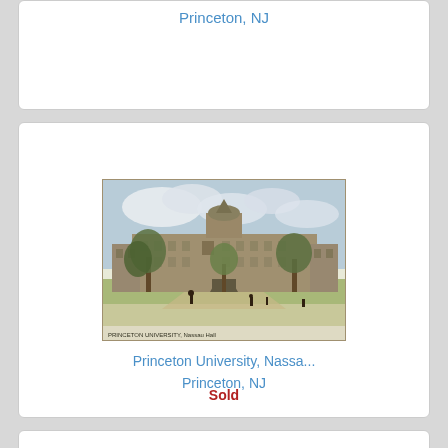Princeton, NJ
[Figure (photo): Vintage postcard illustration of Princeton University, Nassau Hall, showing a large multi-story brick building with a dome tower, surrounded by trees, with people walking on the grounds. Caption at bottom: PRINCETON UNIVERSITY, Nassau Hall]
Princeton University, Nassa...
Princeton, NJ
Sold